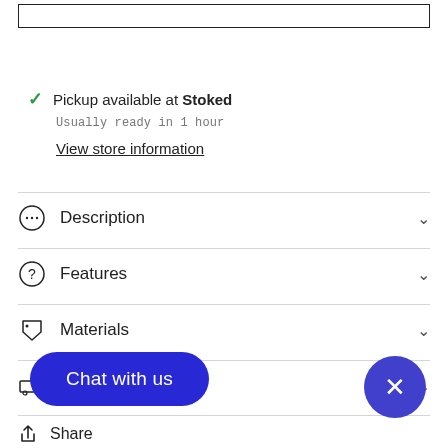[Figure (screenshot): Top bordered box element (UI component placeholder)]
✓ Pickup available at Stoked
Usually ready in 1 hour
View store information
Description
Features
Materials
ns
Chat with us
Share